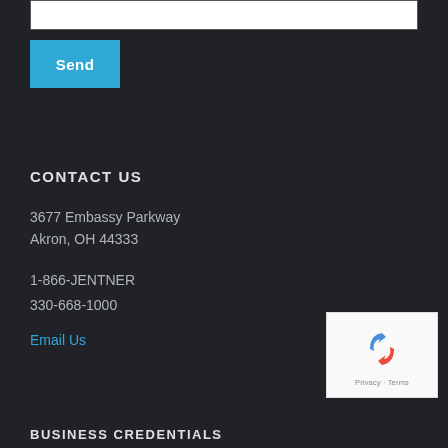[Figure (screenshot): White input text box at the top of the page]
Send
CONTACT US
3677 Embassy Parkway
Akron, OH 44333
1-866-JENTNER
330-668-1000
Email Us
[Figure (logo): reCAPTCHA widget with recycling-arrow logo and Privacy - Terms text]
BUSINESS CREDENTIALS